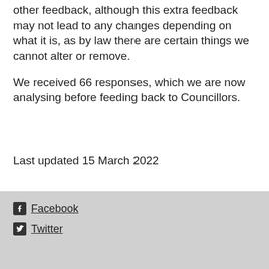other feedback, although this extra feedback may not lead to any changes depending on what it is, as by law there are certain things we cannot alter or remove.
We received 66 responses, which we are now analysing before feeding back to Councillors.
Last updated 15 March 2022
Facebook  Twitter